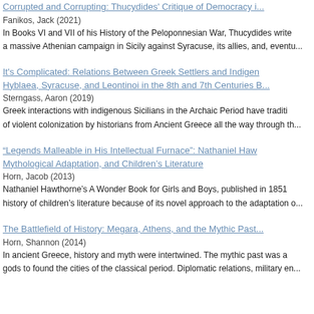Corrupted and Corrupting: Thucydides' Critique of Democracy i...
Fanikos, Jack (2021)
In Books VI and VII of his History of the Peloponnesian War, Thucydides write a massive Athenian campaign in Sicily against Syracuse, its allies, and, eventu...
It's Complicated: Relations Between Greek Settlers and Indigen Hyblaea, Syracuse, and Leontinoi in the 8th and 7th Centuries B...
Sterngass, Aaron (2019)
Greek interactions with indigenous Sicilians in the Archaic Period have traditi of violent colonization by historians from Ancient Greece all the way through th...
“Legends Malleable in His Intellectual Furnace”: Nathaniel Haw Mythological Adaptation, and Children’s Literature
Horn, Jacob (2013)
Nathaniel Hawthorne’s A Wonder Book for Girls and Boys, published in 1851 history of children’s literature because of its novel approach to the adaptation o...
The Battlefield of History: Megara, Athens, and the Mythic Past...
Horn, Shannon (2014)
In ancient Greece, history and myth were intertwined. The mythic past was a gods to found the cities of the classical period. Diplomatic relations, military en...